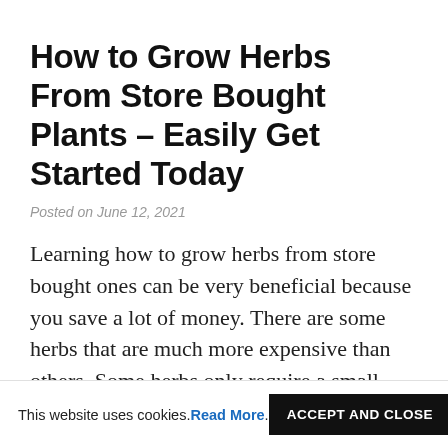How to Grow Herbs From Store Bought Plants – Easily Get Started Today
Posted on June 12, 2021
Learning how to grow herbs from store bought ones can be very beneficial because you save a lot of money. There are some herbs that are much more expensive than others. Some herbs only require a small space for planting, while others are more of a mazes to get
This website uses cookies. Read More. ACCEPT AND CLOSE